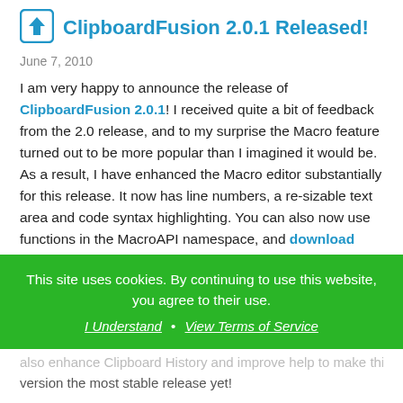ClipboardFusion 2.0.1 Released!
June 7, 2010
I am very happy to announce the release of ClipboardFusion 2.0.1! I received quite a bit of feedback from the 2.0 release, and to my surprise the Macro feature turned out to be more popular than I imagined it would be. As a result, I have enhanced the Macro editor substantially for this release. It now has line numbers, a re-sizable text area and code syntax highlighting. You can also now use functions in the MacroAPI namespace, and download pre-made Macros from the new Macro sharing area. Another major change is the Clipboard History feature, accessible through the system
This site uses cookies. By continuing to use this website, you agree to their use. I Understand · View Terms of Service
version the most stable release yet!